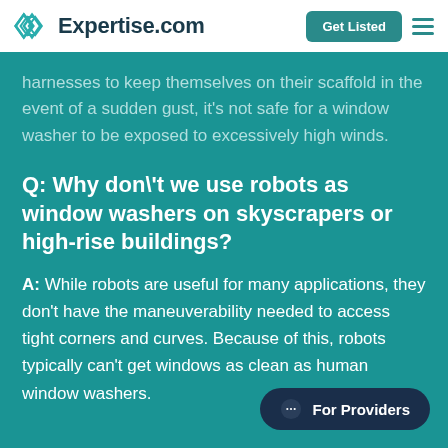Expertise.com — Get Listed
harnesses to keep themselves on their scaffold in the event of a sudden gust, it's not safe for a window washer to be exposed to excessively high winds.
Q: Why don\'t we use robots as window washers on skyscrapers or high-rise buildings?
A: While robots are useful for many applications, they don't have the maneuverability needed to access tight corners and curves. Because of this, robots typically can't get windows as clean as human window washers.